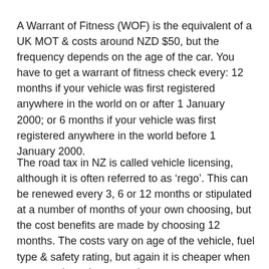A Warrant of Fitness (WOF) is the equivalent of a UK MOT & costs around NZD $50, but the frequency depends on the age of the car. You have to get a warrant of fitness check every: 12 months if your vehicle was first registered anywhere in the world on or after 1 January 2000; or 6 months if your vehicle was first registered anywhere in the world before 1 January 2000.
The road tax in NZ is called vehicle licensing, although it is often referred to as 'rego'. This can be renewed every 3, 6 or 12 months or stipulated at a number of months of your own choosing, but the cost benefits are made by choosing 12 months. The costs vary on age of the vehicle, fuel type & safety rating, but again it is cheaper when compared to other countries.